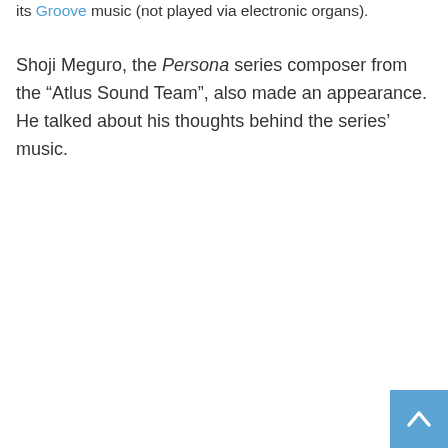its Groove music (not played via electronic organs).
Shoji Meguro, the Persona series composer from the “Atlus Sound Team”, also made an appearance. He talked about his thoughts behind the series’ music.